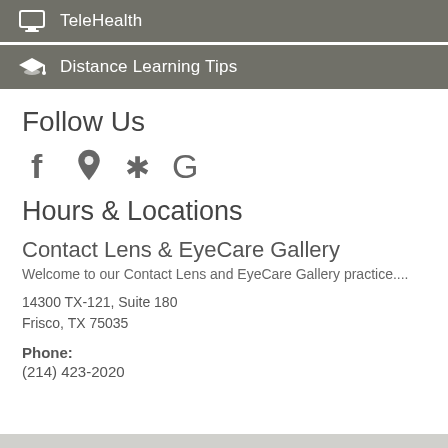TeleHealth
Distance Learning Tips
Follow Us
[Figure (illustration): Social media icons: Facebook (f), Location pin, Yelp (asterisk/star), Google (G)]
Hours & Locations
Contact Lens & EyeCare Gallery
Welcome to our Contact Lens and EyeCare Gallery practice....
14300 TX-121, Suite 180
Frisco, TX 75035
Phone:
(214) 423-2020